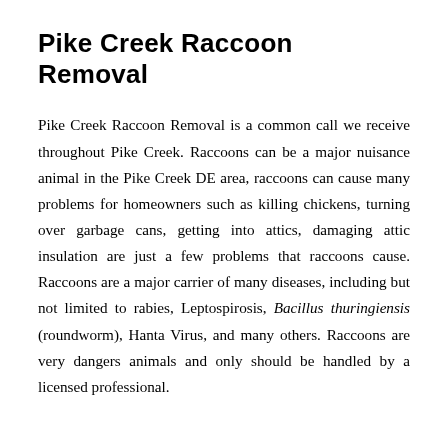Pike Creek Raccoon Removal
Pike Creek Raccoon Removal is a common call we receive throughout Pike Creek. Raccoons can be a major nuisance animal in the Pike Creek DE area, raccoons can cause many problems for homeowners such as killing chickens, turning over garbage cans, getting into attics, damaging attic insulation are just a few problems that raccoons cause. Raccoons are a major carrier of many diseases, including but not limited to rabies, Leptospirosis, Bacillus thuringiensis (roundworm), Hanta Virus, and many others. Raccoons are very dangers animals and only should be handled by a licensed professional.